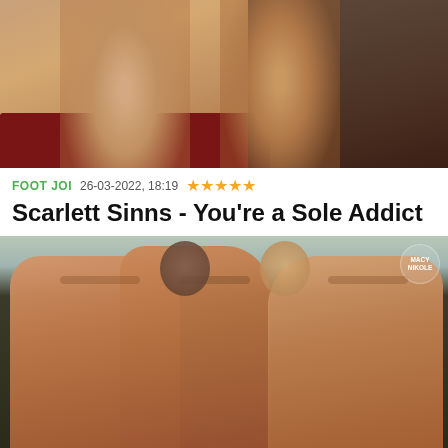[Figure (photo): Close-up photo of bare feet soles on a red couch with a person visible in background]
FOOT JOI   26-03-2022, 18:19   ★★★★★
Scarlett Sinns - You're a Sole Addict
[Figure (photo): Two women showing bare soles of their feet toward camera on a dark couch, with watermark MACY NIKOLE in top right]